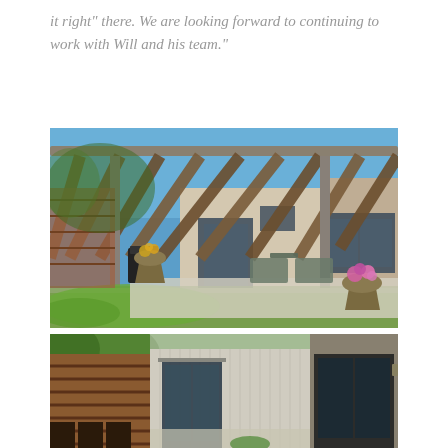it right" there. We are looking forward to continuing to work with Will and his team."
[Figure (photo): Outdoor patio area under a large modern wood-and-metal pergola structure. Shows outdoor furniture, flower planters with pink flowers, green lawn, and the back of a house with large sliding glass doors. Blue sky visible overhead.]
[Figure (photo): Partial view of a backyard showing a horizontal wood fence panel, the back of a house with sliding glass doors and windows, outdoor chairs, and some plantings.]